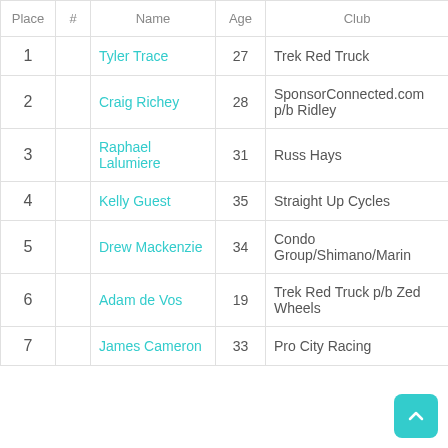| Place | # | Name | Age | Club |
| --- | --- | --- | --- | --- |
| 1 |  | Tyler Trace | 27 | Trek Red Truck |
| 2 |  | Craig Richey | 28 | SponsorConnected.com p/b Ridley |
| 3 |  | Raphael Lalumiere | 31 | Russ Hays |
| 4 |  | Kelly Guest | 35 | Straight Up Cycles |
| 5 |  | Drew Mackenzie | 34 | Condo Group/Shimano/Marin |
| 6 |  | Adam de Vos | 19 | Trek Red Truck p/b Zed Wheels |
| 7 |  | James Cameron | 33 | Pro City Racing |